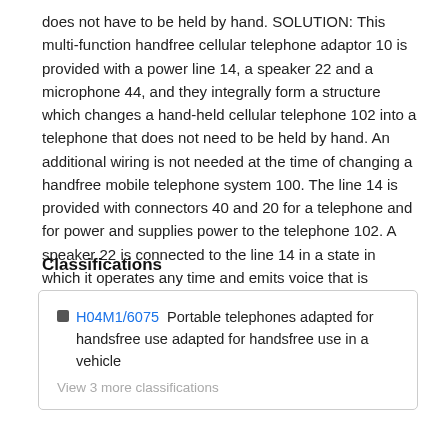does not have to be held by hand. SOLUTION: This multi-function handfree cellular telephone adaptor 10 is provided with a power line 14, a speaker 22 and a microphone 44, and they integrally form a structure which changes a hand-held cellular telephone 102 into a telephone that does not need to be held by hand. An additional wiring is not needed at the time of changing a handfree mobile telephone system 100. The line 14 is provided with connectors 40 and 20 for a telephone and for power and supplies power to the telephone 102. A speaker 22 is connected to the line 14 in a state in which it operates any time and emits voice that is generated by the receiver 112 when the conventional hand-held cellular telephone 102 is not connected.
Classifications
H04M1/6075  Portable telephones adapted for handsfree use adapted for handsfree use in a vehicle
View 3 more classifications